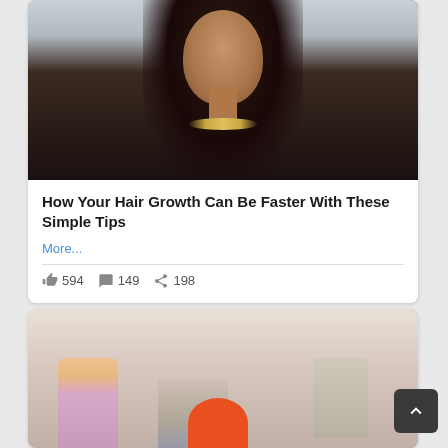[Figure (photo): Portrait photo of a young South Asian woman with long wavy black hair, bindi on forehead, wearing a gold necklace, against a light background]
How Your Hair Growth Can Be Faster With These Simple Tips
More...
👍 594  💬 149  ➤ 198
[Figure (photo): Photo of two people in a pink-toned room, partially cropped, with an orange graphic element in the foreground]